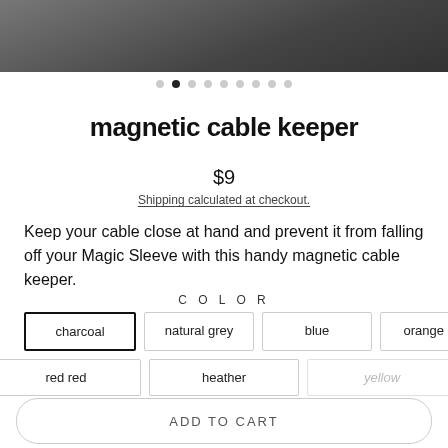[Figure (photo): Close-up photo of dark charcoal felt fabric product]
• • • • • • • • •  (carousel dots, second active)
magnetic cable keeper
$9
Shipping calculated at checkout.
Keep your cable close at hand and prevent it from falling off your Magic Sleeve with this handy magnetic cable keeper.
COLOR
charcoal  natural grey  blue  orange red
red red  heather  yellow
ADD TO CART